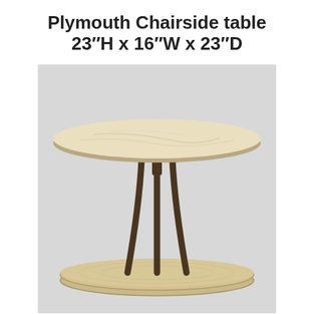Plymouth Chairside table 23″H x 16″W x 23″D
[Figure (photo): A round two-tier chairside table called Plymouth. The top tier has a round stone/marble top with a beige/cream color. Below, three dark bronze/iron legs meet in a Y-shape in the center, connecting the top to a lower round wooden shelf. The lower shelf is a light wood tone. The background is light gray.]